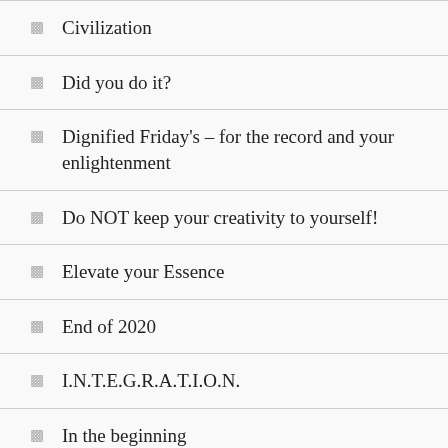Civilization
Did you do it?
Dignified Friday's – for the record and your enlightenment
Do NOT keep your creativity to yourself!
Elevate your Essence
End of 2020
I.N.T.E.G.R.A.T.I.O.N.
In the beginning